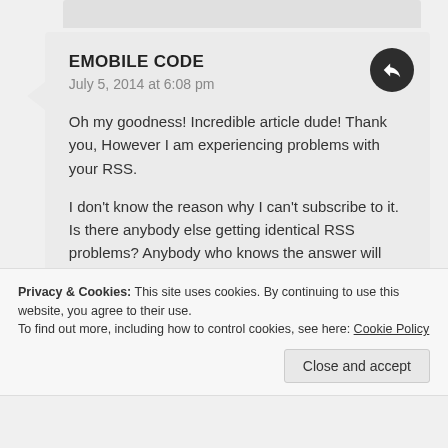EMOBILE CODE
July 5, 2014 at 6:08 pm
Oh my goodness! Incredible article dude! Thank you, However I am experiencing problems with your RSS.

I don't know the reason why I can't subscribe to it. Is there anybody else getting identical RSS problems? Anybody who knows the answer will you kindly respond?
Thanks!!
Privacy & Cookies: This site uses cookies. By continuing to use this website, you agree to their use.
To find out more, including how to control cookies, see here: Cookie Policy
Close and accept